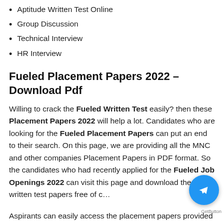Aptitude Written Test Online
Group Discussion
Technical Interview
HR Interview
Fueled Placement Papers 2022 – Download Pdf
Willing to crack the Fueled Written Test easily? then these Placement Papers 2022 will help a lot. Candidates who are looking for the Fueled Placement Papers can put an end to their search. On this page, we are providing all the MNC and other companies Placement Papers in PDF format. So the candidates who had recently applied for the Fueled Job Openings 2022 can visit this page and download the written test papers free of c…
Aspirants can easily access the placement papers provided on this page. Solving more and more Placement Papers, you can easily